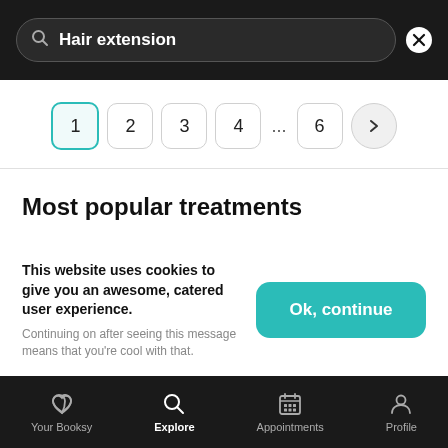[Figure (screenshot): Search bar with text 'Hair extension' and close (X) button on dark background]
[Figure (infographic): Pagination control showing pages 1 (active/highlighted), 2, 3, 4, ..., 6 and a next arrow button]
Most popular treatments
This website uses cookies to give you an awesome, catered user experience.
Continuing on after seeing this message means that you're cool with that.
[Figure (screenshot): Bottom navigation bar with icons: Your Booksy, Explore (active), Appointments, Profile]